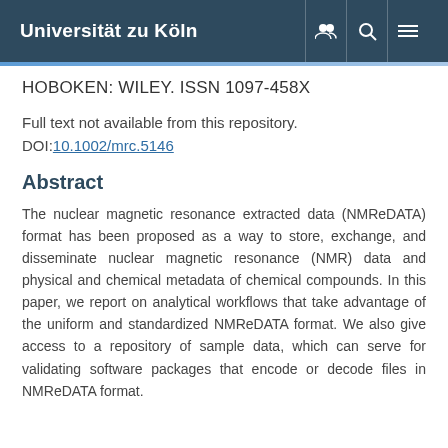Universität zu Köln
HOBOKEN: WILEY. ISSN 1097-458X
Full text not available from this repository.
DOI:10.1002/mrc.5146
Abstract
The nuclear magnetic resonance extracted data (NMReDATA) format has been proposed as a way to store, exchange, and disseminate nuclear magnetic resonance (NMR) data and physical and chemical metadata of chemical compounds. In this paper, we report on analytical workflows that take advantage of the uniform and standardized NMReDATA format. We also give access to a repository of sample data, which can serve for validating software packages that encode or decode files in NMReDATA format.